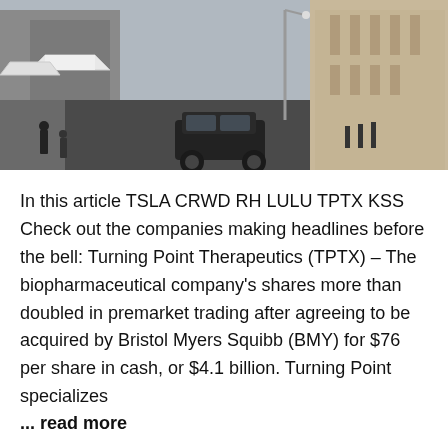[Figure (photo): Street-level photo of a city financial district with a dark SUV driving down the road, white tents on the left, and classical stone building facades on the right.]
In this article TSLA CRWD RH LULU TPTX KSS Check out the companies making headlines before the bell: Turning Point Therapeutics (TPTX) – The biopharmaceutical company's shares more than doubled in premarket trading after agreeing to be acquired by Bristol Myers Squibb (BMY) for $76 per share in cash, or $4.1 billion. Turning Point specializes
... read more